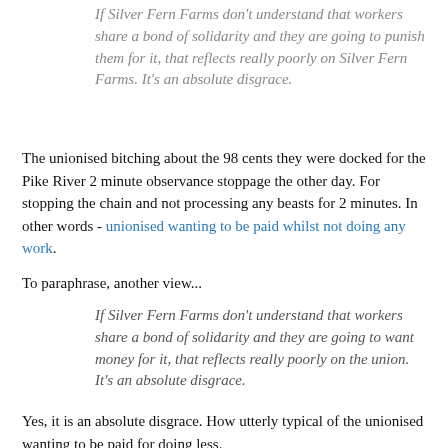If Silver Fern Farms don't understand that workers share a bond of solidarity and they are going to punish them for it, that reflects really poorly on Silver Fern Farms. It's an absolute disgrace.
The unionised bitching about the 98 cents they were docked for the Pike River 2 minute observance stoppage the other day. For stopping the chain and not processing any beasts for 2 minutes. In other words - unionised wanting to be paid whilst not doing any work.
To paraphrase, another view...
If Silver Fern Farms don't understand that workers share a bond of solidarity and they are going to want money for it, that reflects really poorly on the union. It's an absolute disgrace.
Yes, it is an absolute disgrace. How utterly typical of the unionised wanting to be paid for doing less.